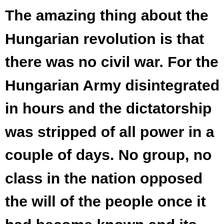The amazing thing about the Hungarian revolution is that there was no civil war. For the Hungarian Army disintegrated in hours and the dictatorship was stripped of all power in a couple of days. No group, no class in the nation opposed the will of the people once it had become known and its voice had been heard in the market place. For the members of the ÁVH, who remained loyal to the end